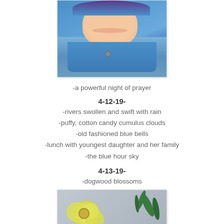[Figure (photo): Child smiling wearing a blue jacket, close-up selfie-style photo]
-a powerful night of prayer
4-12-19-
-rivers swollen and swift with rain
-puffy, cotton candy cumulus clouds
-old fashioned blue bells
-lunch with youngest daughter and her family
-the blue hour sky
4-13-19-
-dogwood blossoms
[Figure (photo): Yellow dogwood blossom with green leaves against a gray background]